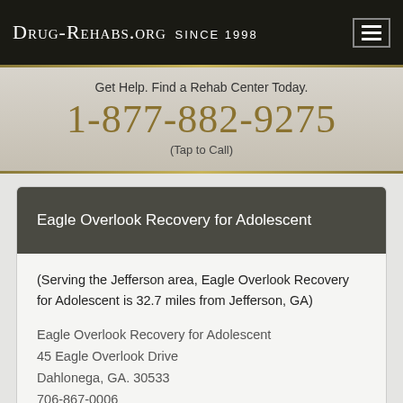Drug-Rehabs.org Since 1998
Get Help. Find a Rehab Center Today.
1-877-882-9275
(Tap to Call)
Eagle Overlook Recovery for Adolescent
(Serving the Jefferson area, Eagle Overlook Recovery for Adolescent is 32.7 miles from Jefferson, GA)
Eagle Overlook Recovery for Adolescent
45 Eagle Overlook Drive
Dahlonega, GA. 30533
706-867-0006